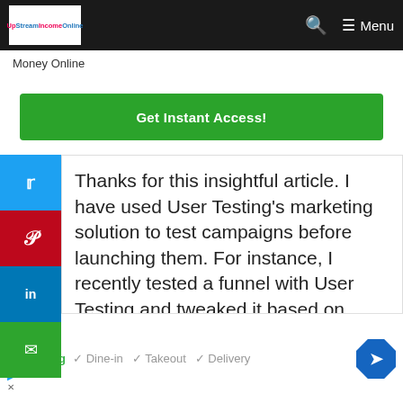UpStreamIncomeOnline — Menu
Money Online
Get Instant Access!
Thanks for this insightful article. I have used User Testing's marketing solution to test campaigns before launching them. For instance, I recently tested a funnel with User Testing and tweaked it based on people's feedback. I think the best thing about User Testing is that it
[Figure (screenshot): Advertisement banner for sweetFrog showing Dine-in, Takeout, Delivery options with checkmarks and navigation icon]